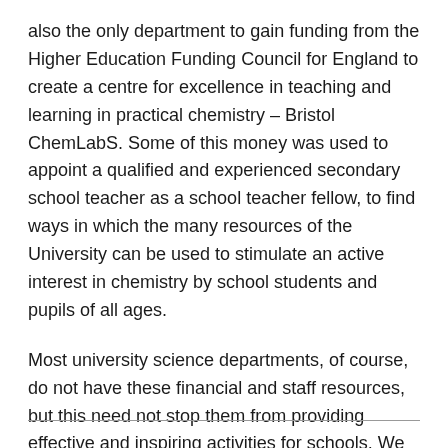also the only department to gain funding from the Higher Education Funding Council for England to create a centre for excellence in teaching and learning in practical chemistry – Bristol ChemLabS. Some of this money was used to appoint a qualified and experienced secondary school teacher as a school teacher fellow, to find ways in which the many resources of the University can be used to stimulate an active interest in chemistry by school students and pupils of all ages.
Most university science departments, of course, do not have these financial and staff resources, but this need not stop them from providing effective and inspiring activities for schools. We hope that this article and our website[w5] provide some useful ideas – and Bristol ChemLabS would be happy to offer advice.